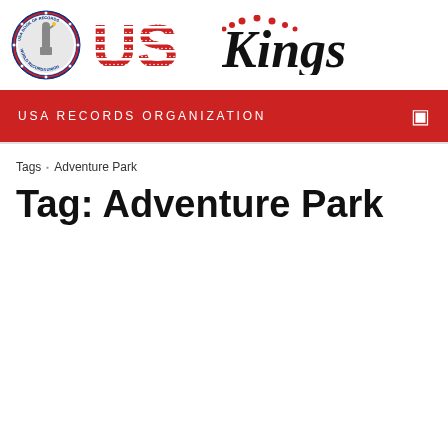[Figure (logo): USA Book of Records World Records Union circular badge logo on left, and 'US Kings' logo text with American flag pattern on right]
USA RECORDS ORGANIZATION
Tags · Adventure Park
Tag: Adventure Park